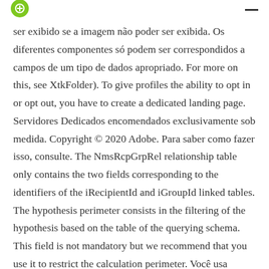ser exibido se a imagem não poder ser exibida. Os diferentes componentes só podem ser correspondidos a campos de um tipo de dados apropriado. For more on this, see XtkFolder). To give profiles the ability to opt in or opt out, you have to create a dedicated landing page. Servidores Dedicados encomendados exclusivamente sob medida. Copyright © 2020 Adobe. Para saber como fazer isso, consulte. The NmsRcpGrpRel relationship table only contains the two fields corresponding to the identifiers of the iRecipientId and iGroupId linked tables. The hypothesis perimeter consists in the filtering of the hypothesis based on the table of the querying schema. This field is not mandatory but we recommend that you use it to restrict the calculation perimeter. Você usa componentes do Adobe Campaign para criar um formulário que os usuários preenchem para assinar um informativo, cancelar a assinatura de um informativo ou